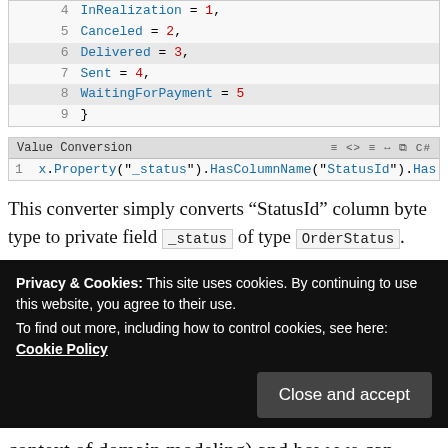[Figure (screenshot): Code block showing enum values: InRealization=1, Canceled=2, Delivered=3, Sent=4, WaitingForPayment=5, closing brace on line 9]
[Figure (screenshot): Code snippet with header 'Value Conversion' and C# toolbar icons, showing: x.Property("_status").HasColumnName("StatusId").Has]
This converter simply converts “StatusId” column byte type to private field _status of type OrderStatus.
Privacy & Cookies: This site uses cookies. By continuing to use this website, you agree to their use.
To find out more, including how to control cookies, see here: Cookie Policy
Close and accept
context of domain modeling) and how we can achieve these approaches by: